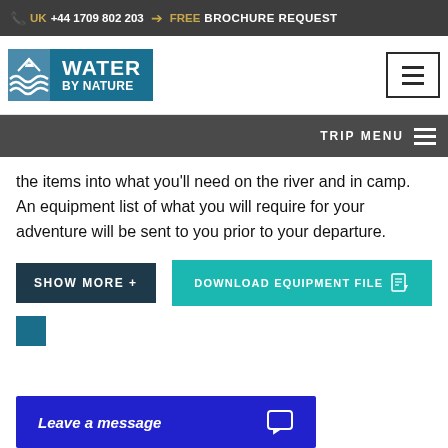📞 UK +44 1709 802 203 ➔ FREE BROCHURE REQUEST
[Figure (logo): Water By Nature logo with wave graphic and teal background]
TRIP MENU ☰
the items into what you'll need on the river and in camp. An equipment list of what you will require for your adventure will be sent to you prior to your departure.
SHOW MORE +
DOWNLOAD EQUIPMENT FILE 📄
Leave a message 💬